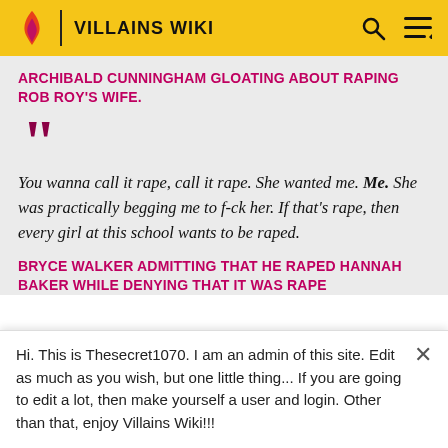VILLAINS WIKI
ARCHIBALD CUNNINGHAM GLOATING ABOUT RAPING ROB ROY'S WIFE.
You wanna call it rape, call it rape. She wanted me. Me. She was practically begging me to f-ck her. If that's rape, then every girl at this school wants to be raped.
BRYCE WALKER ADMITTING THAT HE RAPED HANNAH BAKER WHILE DENYING THAT IT WAS RAPE
Hi. This is Thesecret1070. I am an admin of this site. Edit as much as you wish, but one little thing... If you are going to edit a lot, then make yourself a user and login. Other than that, enjoy Villains Wiki!!!